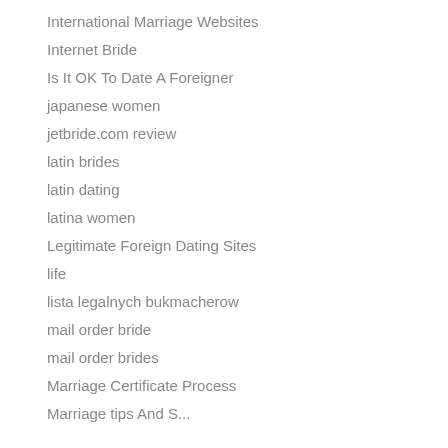International Marriage Websites
Internet Bride
Is It OK To Date A Foreigner
japanese women
jetbride.com review
latin brides
latin dating
latina women
Legitimate Foreign Dating Sites
life
lista legalnych bukmacherow
mail order bride
mail order brides
Marriage Certificate Process
Marriage tips And S...